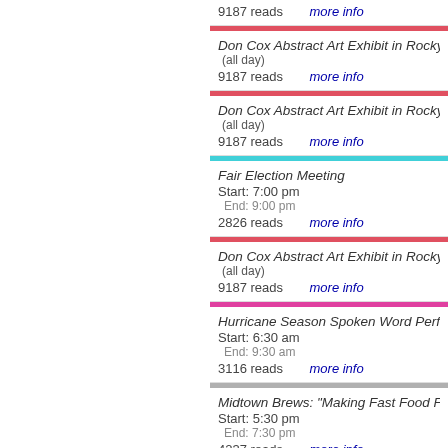9187 reads   more info
Don Cox Abstract Art Exhibit in Rocky Riv
(all day)
9187 reads   more info
Don Cox Abstract Art Exhibit in Rocky Riv
(all day)
9187 reads   more info
Fair Election Meeting
Start: 7:00 pm
End: 9:00 pm
2826 reads   more info
Don Cox Abstract Art Exhibit in Rocky Riv
(all day)
9187 reads   more info
Hurricane Season Spoken Word Performa
Start: 6:30 am
End: 9:30 am
3116 reads   more info
Midtown Brews: "Making Fast Food Faste
Start: 5:30 pm
End: 7:30 pm
4237 reads   more info
Alixa and Naima Hurricane Season
Start: 6:30 pm